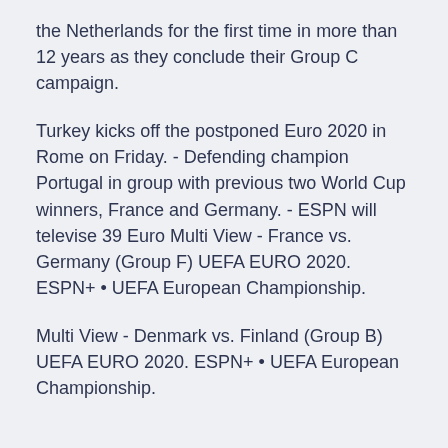the Netherlands for the first time in more than 12 years as they conclude their Group C campaign.
Turkey kicks off the postponed Euro 2020 in Rome on Friday. - Defending champion Portugal in group with previous two World Cup winners, France and Germany. - ESPN will televise 39 Euro Multi View - France vs. Germany (Group F) UEFA EURO 2020. ESPN+ • UEFA European Championship.
Multi View - Denmark vs. Finland (Group B) UEFA EURO 2020. ESPN+ • UEFA European Championship.